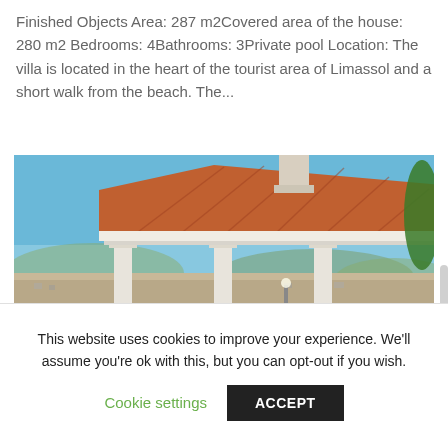Finished Objects Area: 287 m2Covered area of the house: 280 m2 Bedrooms: 4Bathrooms: 3Private pool Location: The villa is located in the heart of the tourist area of Limassol and a short walk from the beach. The...
[Figure (photo): Exterior photo of a Mediterranean-style villa with a terracotta tiled roof, white columns forming a pergola/carport structure, a chimney, and a panoramic view of a city and hills in the background under a clear blue sky. Trees visible on the right.]
This website uses cookies to improve your experience. We'll assume you're ok with this, but you can opt-out if you wish.
Cookie settings   ACCEPT